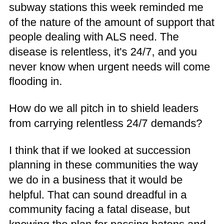subway stations this week reminded me of the nature of the amount of support that people dealing with ALS need. The disease is relentless, it's 24/7, and you never know when urgent needs will come flooding in.
How do we all pitch in to shield leaders from carrying relentless 24/7 demands?
I think that if we looked at succession planning in these communities the way we do in a business that it would be helpful. That can sound dreadful in a community facing a fatal disease, but knowing the plan for passing batons and developing understudies would help a lot in my opinion.
Thanks. I look forward to reading more